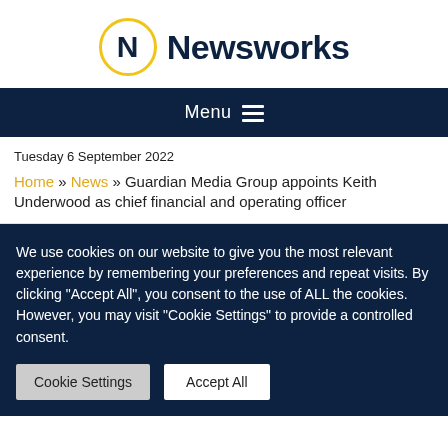Newsworks
Menu
Tuesday 6 September 2022
Home » News » Guardian Media Group appoints Keith Underwood as chief financial and operating officer
We use cookies on our website to give you the most relevant experience by remembering your preferences and repeat visits. By clicking "Accept All", you consent to the use of ALL the cookies. However, you may visit "Cookie Settings" to provide a controlled consent.
Cookie Settings | Accept All